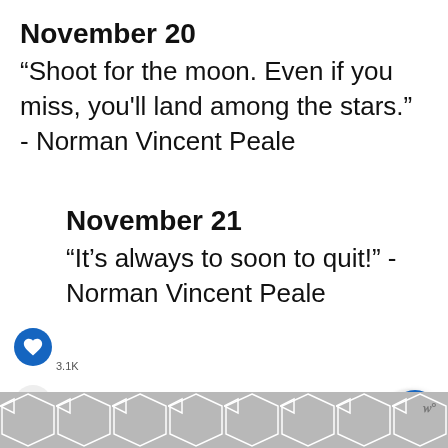November 20
“Shoot for the moon. Even if you miss, you'll land among the stars.” - Norman Vincent Peale
November 21
“It’s always to soon to quit!” - Norman Vincent Peale
November 22
[Figure (infographic): Geometric hexagonal pattern at bottom of page with watermark]
WHAT'S NEXT → Encouraging Inspiring...